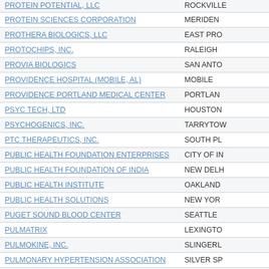| Organization | City |
| --- | --- |
| PROTEIN POTENTIAL, LLC | ROCKVILLE |
| PROTEIN SCIENCES CORPORATION | MERIDEN |
| PROTHERA BIOLOGICS, LLC | EAST PRO... |
| PROTOCHIPS, INC. | RALEIGH |
| PROVIA BIOLOGICS | SAN ANTO... |
| PROVIDENCE HOSPITAL (MOBILE, AL) | MOBILE |
| PROVIDENCE PORTLAND MEDICAL CENTER | PORTLAND |
| PSYC TECH, LTD | HOUSTON |
| PSYCHOGENICS, INC. | TARRYTOW... |
| PTC THERAPEUTICS, INC. | SOUTH PL... |
| PUBLIC HEALTH FOUNDATION ENTERPRISES | CITY OF IN... |
| PUBLIC HEALTH FOUNDATION OF INDIA | NEW DELH... |
| PUBLIC HEALTH INSTITUTE | OAKLAND |
| PUBLIC HEALTH SOLUTIONS | NEW YORK |
| PUGET SOUND BLOOD CENTER | SEATTLE |
| PULMATRIX | LEXINGTON |
| PULMOKINE, INC. | SLINGERL... |
| PULMONARY HYPERTENSION ASSOCIATION | SILVER SP... |